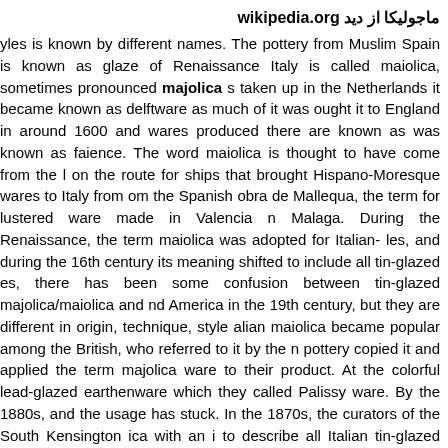ماجولیکا از دید wikipedia.org
yles is known by different names. The pottery from Muslim Spain is known as glaze of Renaissance Italy is called maiolica, sometimes pronounced majolica s taken up in the Netherlands it became known as delftware as much of it was ought it to England in around 1600 and wares produced there are known as was known as faience. The word maiolica is thought to have come from the l on the route for ships that brought Hispano-Moresque wares to Italy from om the Spanish obra de Mallequa, the term for lustered ware made in Valencia n Malaga. During the Renaissance, the term maiolica was adopted for Italian- les, and during the 16th century its meaning shifted to include all tin-glazed es, there has been some confusion between tin-glazed majolica/maiolica and nd America in the 19th century, but they are different in origin, technique, style alian maiolica became popular among the British, who referred to it by the n pottery copied it and applied the term majolica ware to their product. At the colorful lead-glazed earthenware which they called Palissy ware. By the 1880s, and the usage has stuck. In the 1870s, the curators of the South Kensington ica with an i to describe all Italian tin-glazed earthenware, doubtless to stress on with contemporary majolica...more
ماجولیکا از دید thatsarte.com
utiful ware prepared by tin-glazing earthenware and firing it a second time. After th of fast drying liquid glaze. When dry, the glazed piece is ready to be hand make the glaze interact with the metal oxides used by the painter to create the o majolica. This technique originates in the Middle East in the 9th century. By